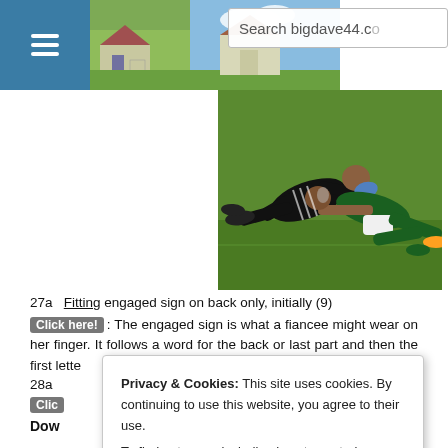Search bigdave44.co
[Figure (photo): Rugby players tackling, one in black All Blacks kit and one in green Springboks kit, on a grass field]
27a   Fitting engaged sign on back only, initially (9)
Click here!: The engaged sign is what a fiancee might wear on her finger. It follows a word for the back or last part and then the first lette
28a
Clic
Dow
[Figure (screenshot): Cookie consent banner overlay: 'Privacy & Cookies: This site uses cookies. By continuing to use this website, you agree to their use. To find out more, including how to control cookies, see here: Cookie Policy. Close and accept button.']
1d   Removing son during pleasure trip (7)
Click here!: The abbreviation for son is included in a word for a small